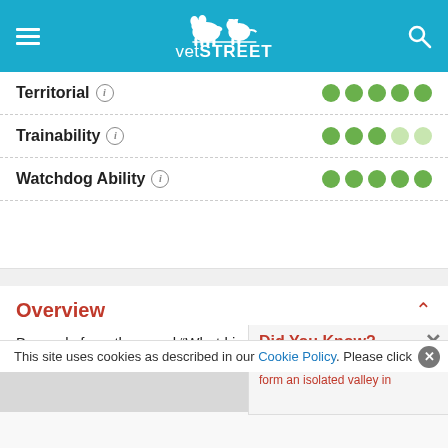[Figure (screenshot): VetStreet website header with hamburger menu icon on left, VetStreet logo (dog and cat silhouette) in center on teal background, search icon on right]
| Trait | Rating |
| --- | --- |
| Territorial | 5/5 |
| Trainability | 3/5 |
| Watchdog Ability | 5/5 |
Overview
Be ready for a thousand “What kind of dog is that?” stops on the sidewalk. If you manage to find this one, the most unique of the Irish dog ...
Did You Know?
That Glen of Imaal to Scot form an isolated valley in
This site uses cookies as described in our Cookie Policy. Please click